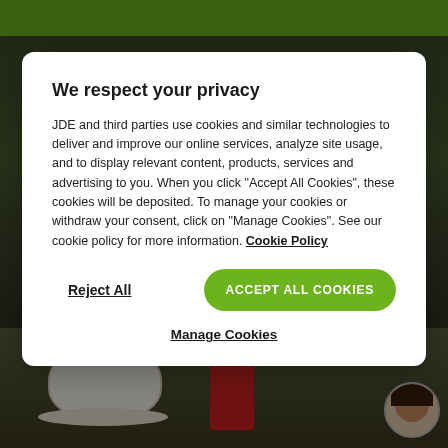[Figure (screenshot): Background showing website with green top navigation bar and photo of coffee machine with coffee cups on a wooden table]
We respect your privacy
JDE and third parties use cookies and similar technologies to deliver and improve our online services, analyze site usage, and to display relevant content, products, services and advertising to you. When you click "Accept All Cookies", these cookies will be deposited. To manage your cookies or withdraw your consent, click on "Manage Cookies". See our cookie policy for more information. Cookie Policy
Reject All
ACCEPT ALL COOKIES
Manage Cookies